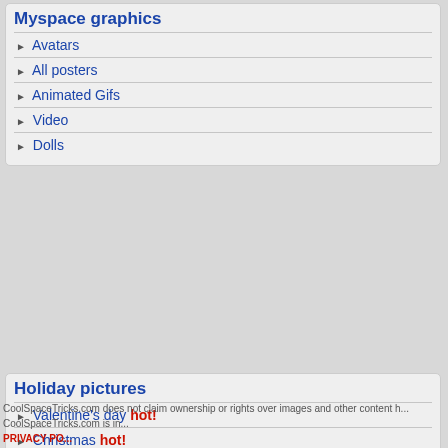Myspace graphics
Avatars
All posters
Animated Gifs
Video
Dolls
[Figure (illustration): Myspace graphic with text: im Cool, im Erotic, im nice, im Ambitious, im Clever]
[Figure (logo): Famous logo in black background with star]
[Figure (illustration): Partially visible pink styled text starting with S]
Holiday pictures
Valentine's day hot!
Christmas hot!
Cool tricks
Flash tricks
Image hosting
Uploaded graphic hot!
« Previous  1
CoolSpaceTricks.com does not claim ownership or rights over images and other content h... CoolSpaceTricks.com is in... PRIVACY PO...